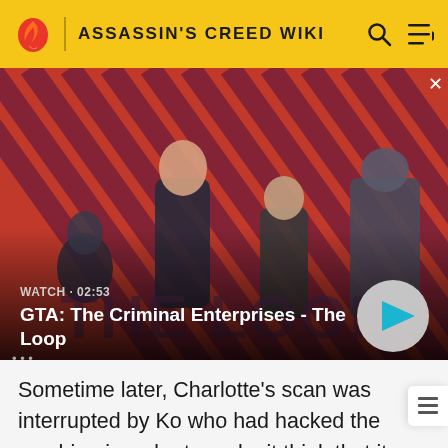ASSASSIN'S CREED WIKI
[Figure (screenshot): GTA: The Criminal Enterprises - The Loop video thumbnail showing game characters on a red striped background. Text overlay: WATCH · 02:53, GTA: The Criminal Enterprises - The Loop, with a play button on the right.]
Sometime later, Charlotte's scan was interrupted by Ko who had hacked the machine in order to make it think that it had run the full two hours. Kody explained that he thought that Guernica was hiding stuff from her and